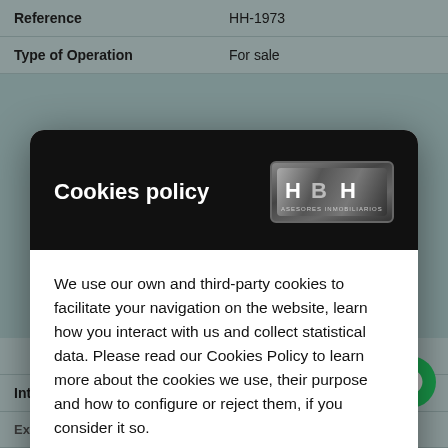| Reference | HH-1973 |
| --- | --- |
| Type of Operation | For sale |
[Figure (screenshot): Cookies policy modal dialog with HBH Asesores Inmobiliarios logo on dark header, policy text, and two buttons: Manage Cookies and Accept all]
| QUESTION? | Kitchen-Office |
| Interior Carpentry | Wood |